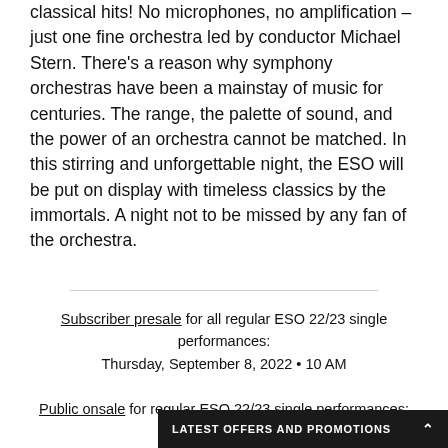classical hits! No microphones, no amplification – just one fine orchestra led by conductor Michael Stern. There's a reason why symphony orchestras have been a mainstay of music for centuries. The range, the palette of sound, and the power of an orchestra cannot be matched. In this stirring and unforgettable night, the ESO will be put on display with timeless classics by the immortals. A night not to be missed by any fan of the orchestra.
Subscriber presale for all regular ESO 22/23 single performances: Thursday, September 8, 2022 • 10 AM
Public onsale for regular ESO 22/23 single performances: Thursday, September 15, 2022 • 10 AM
LATEST OFFERS AND PROMOTIONS